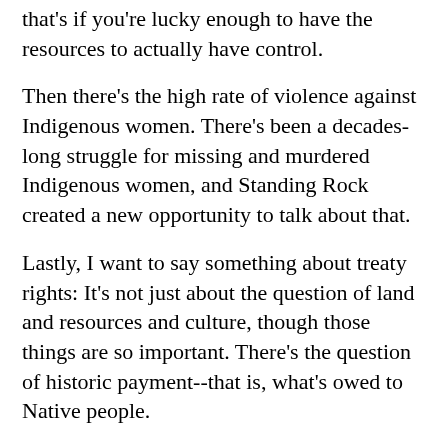that's if you're lucky enough to have the resources to actually have control.
Then there's the high rate of violence against Indigenous women. There's been a decades-long struggle for missing and murdered Indigenous women, and Standing Rock created a new opportunity to talk about that.
Lastly, I want to say something about treaty rights: It's not just about the question of land and resources and culture, though those things are so important. There's the question of historic payment--that is, what's owed to Native people.
It's not an afterthought to say that Indigenous people should have health care or access to quality education and schools. Resources have been stripped away from people, and now you have the Trump administration basically cutting these programs by tens of millions of dollars.